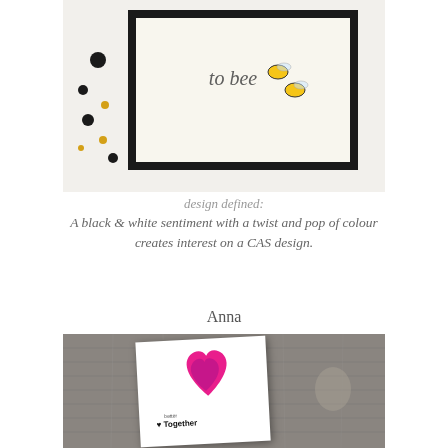[Figure (photo): Top portion of a card craft photo showing a black-framed card with 'to bee' text and bee illustrations, with scattered decorative elements on a white background]
design defined:
A black & white sentiment with a twist and pop of colour creates interest on a CAS design.
Anna
[Figure (photo): A crafted greeting card leaning against a rustic wood-plank background. The white card features layered bright pink/magenta heart die cuts and handwritten-style text reading 'better Together']